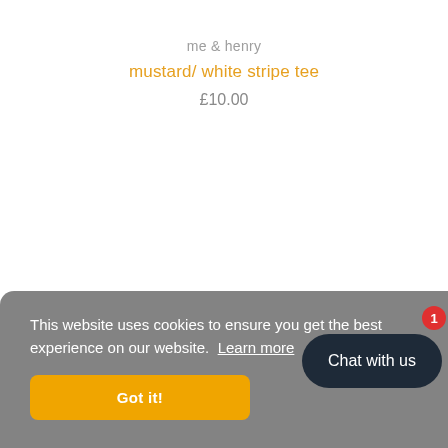me & henry
mustard/ white stripe tee
£10.00
This website uses cookies to ensure you get the best experience on our website. Learn more
Got it!
Chat with us 1